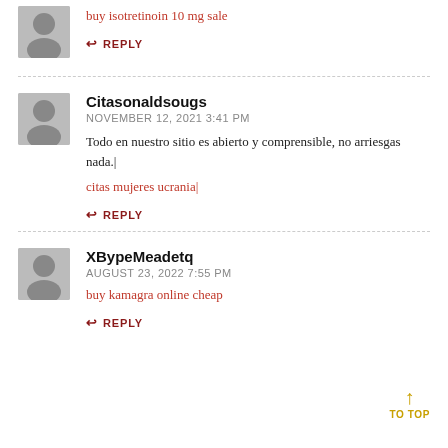buy isotretinoin 10 mg sale
↩ REPLY
Citasonaldsougs
NOVEMBER 12, 2021 3:41 PM
Todo en nuestro sitio es abierto y comprensible, no arriesgas nada.|
citas mujeres ucrania|
↩ REPLY
XBypeMeadetq
AUGUST 23, 2022 7:55 PM
buy kamagra online cheap
↩ REPLY
↑ TO TOP